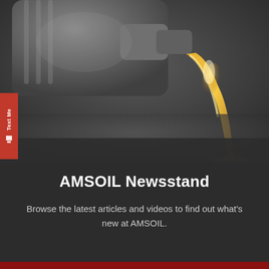[Figure (photo): Close-up photograph of golden motor oil being poured from a gray container, with liquid stream visible against a dark gray background]
AMSOIL Newsstand
Browse the latest articles and videos to find out what's new at AMSOIL.